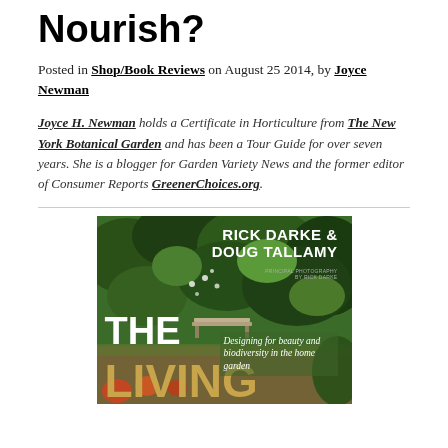Nourish?
Posted in Shop/Book Reviews on August 25 2014, by Joyce Newman
Joyce H. Newman holds a Certificate in Horticulture from The New York Botanical Garden and has been a Tour Guide for over seven years. She is a blogger for Garden Variety News and the former editor of Consumer Reports GreenerChoices.org.
[Figure (photo): Book cover of 'The Living...' by Rick Darke & Doug Tallamy, showing a lush garden with greenery and a bench. Subtitle: Designing for beauty and biodiversity in the home garden. Principal photography by Rick Darke.]